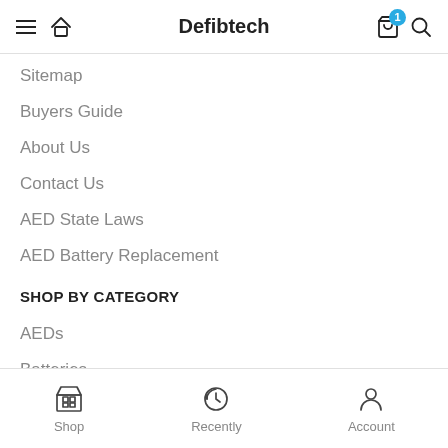Defibtech
Sitemap
Buyers Guide
About Us
Contact Us
AED State Laws
AED Battery Replacement
SHOP BY CATEGORY
AEDs
Batteries
Shop  Recently  Account